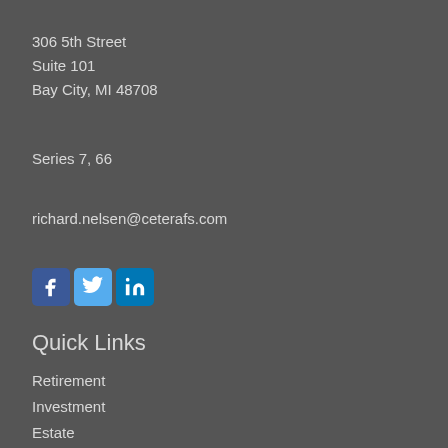306 5th Street
Suite 101
Bay City, MI 48708
Series 7, 66
richard.nelsen@ceterafs.com
[Figure (other): Social media icons: Facebook, Twitter, LinkedIn]
Quick Links
Retirement
Investment
Estate
Insurance
Tax
Money
Lifestyle
All Articles
All Videos